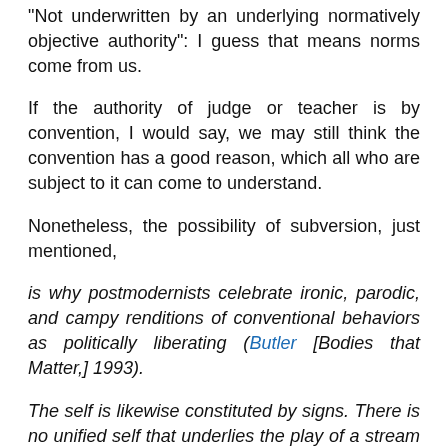“Not underwritten by an underlying normatively objective authority”: I guess that means norms come from us.
If the authority of judge or teacher is by convention, I would say, we may still think the convention has a good reason, which all who are subject to it can come to understand.
Nonetheless, the possibility of subversion, just mentioned,
is why postmodernists celebrate ironic, parodic, and campy renditions of conventional behaviors as politically liberating (Butler [Bodies that Matter,] 1993).
The self is likewise constituted by signs. There is no unified self that underlies the play of a stream of